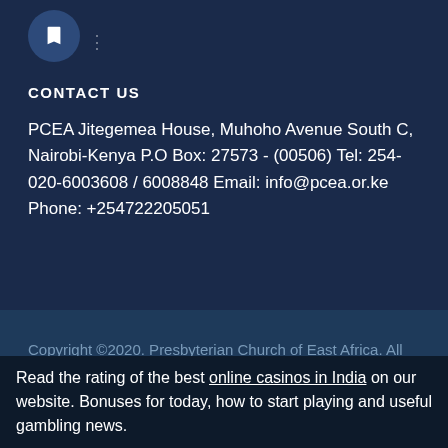[Figure (other): Circle icon button with a bookmark/flag symbol]
CONTACT US
PCEA Jitegemea House, Muhoho Avenue South C, Nairobi-Kenya P.O Box: 27573 - (00506) Tel: 254-020-6003608 / 6008848 Email: info@pcea.or.ke Phone: +254722205051
Copyright ©2020. Presbyterian Church of East Africa. All Rights Reserved.
Read the rating of the best online casinos in India on our website. Bonuses for today, how to start playing and useful gambling news.